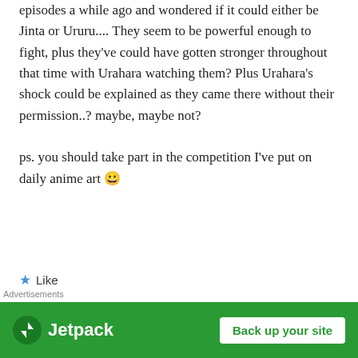episodes a while ago and wondered if it could either be Jinta or Ururu.... They seem to be powerful enough to fight, plus they've could have gotten stronger throughout that time with Urahara watching them? Plus Urahara's shock could be explained as they came there without their permission..? maybe, maybe not?

ps. you should take part in the competition I've put on daily anime art 😀
★ Like
tyler1000
Advertisements
[Figure (other): Jetpack advertisement banner with green background, Jetpack logo on left and 'Back up your site' button on right]